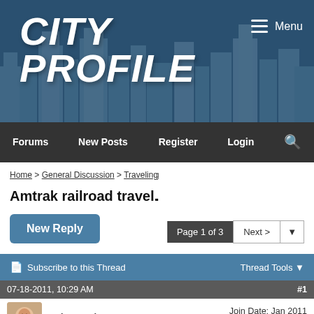[Figure (screenshot): City Profile website header banner with city skyline background and white bold italic 'CITY PROFILE' logo text, with hamburger Menu icon top right]
Forums   New Posts   Register   Login   🔍
Home > General Discussion > Traveling
Amtrak railroad travel.
New Reply
Page 1 of 3   Next >   ▼
Subscribe to this Thread   Thread Tools ▼
07-18-2011, 10:29 AM   #1
HiHood   Join Date: Jan 2011   Posts: 2,054